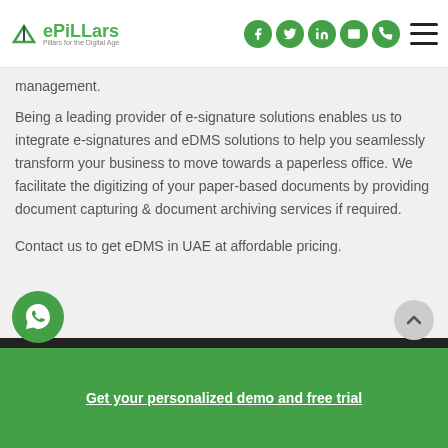ePiLLars — Pillars for the Digital Age
management.
Being a leading provider of e-signature solutions enables us to integrate e-signatures and eDMS solutions to help you seamlessly transform your business to move towards a paperless office. We facilitate the digitizing of your paper-based documents by providing document capturing & document archiving services if required.
Contact us to get eDMS in UAE at affordable pricing.
Get your personalized demo and free trial